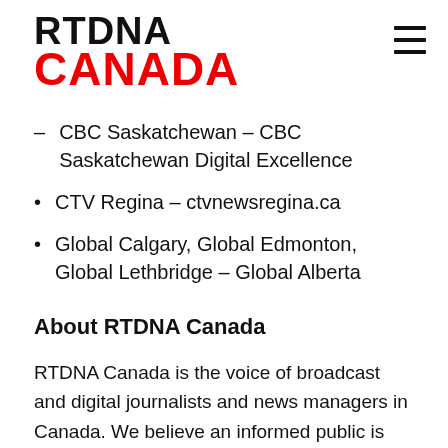RTDNA CANADA
CBC Saskatchewan – CBC Saskatchewan Digital Excellence
CTV Regina – ctvnewsregina.ca
Global Calgary, Global Edmonton, Global Lethbridge – Global Alberta
About RTDNA Canada
RTDNA Canada is the voice of broadcast and digital journalists and news managers in Canada. We believe an informed public is vital to a democratic society. Canadian